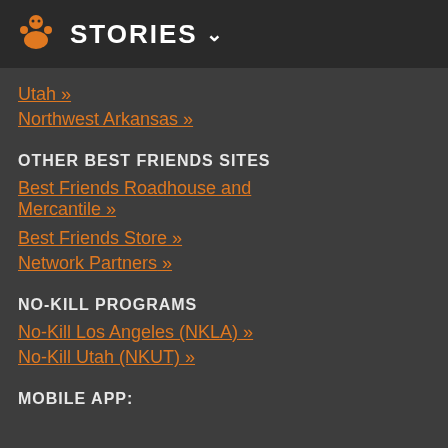STORIES
Utah »
Northwest Arkansas »
OTHER BEST FRIENDS SITES
Best Friends Roadhouse and Mercantile »
Best Friends Store »
Network Partners »
NO-KILL PROGRAMS
No-Kill Los Angeles (NKLA) »
No-Kill Utah (NKUT) »
MOBILE APP: